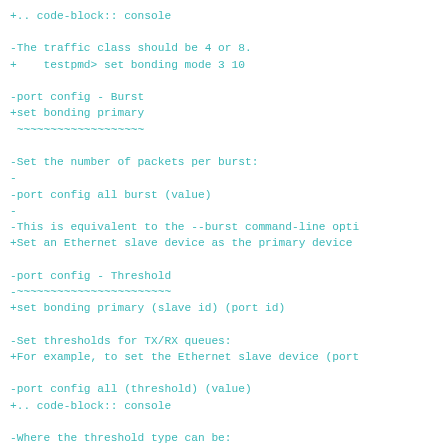+.. code-block:: console

-The traffic class should be 4 or 8.
+    testpmd> set bonding mode 3 10

-port config - Burst
+set bonding primary
 ~~~~~~~~~~~~~~~~~~~

-Set the number of packets per burst:
-
-port config all burst (value)
-
-This is equivalent to the --burst command-line opti
+Set an Ethernet slave device as the primary device

-port config - Threshold
-~~~~~~~~~~~~~~~~~~~~~~~
+set bonding primary (slave id) (port id)

-Set thresholds for TX/RX queues:
+For example, to set the Ethernet slave device (port

-port config all (threshold) (value)
+.. code-block:: console

-Where the threshold type can be:
+    testpmd> set bonding primary 6 10

-*   txpt: Set the prefetch threshold register of th
+set bonding mac